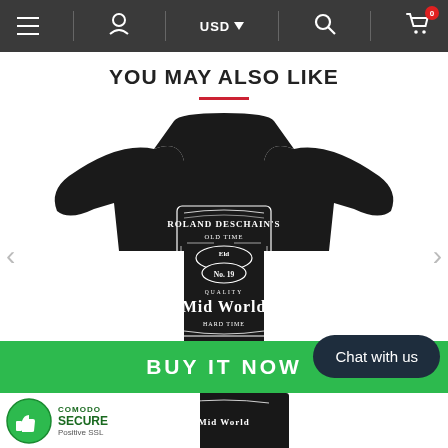Navigation bar with menu, account, USD currency selector, search, and cart (0 items)
YOU MAY ALSO LIKE
[Figure (photo): Black t-shirt featuring a Jack Daniel's-style label design reading 'Roland Deschain's Old Time Eld No. 19 Quality Mid World Hard Time']
< navigation arrow left
> navigation arrow right
BUY IT NOW
[Figure (logo): Comodo Secure badge with shield icon, Positive SSL label]
Chat with us